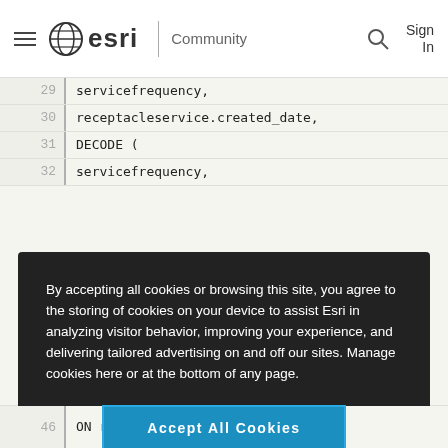esri | Community  [search icon]  Sign In
29  servicefrequency,
30  receptacleservice.created_date,
31  DECODE (
32  servicefrequency,
By accepting all cookies or browsing this site, you agree to the storing of cookies on your device to assist Esri in analyzing visitor behavior, improving your experience, and delivering tailored advertising on and off our sites. Manage cookies here or at the bottom of any page.
Accept All Cookies
Cookies Settings
46  ON receptacles.globalid = recept